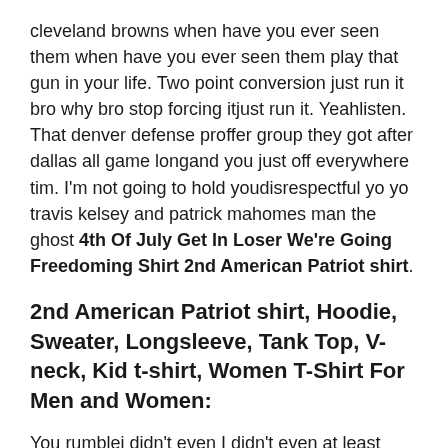cleveland browns when have you ever seen them when have you ever seen them play that gun in your life. Two point conversion just run it bro why bro stop forcing itjust run it. Yeahlisten. That denver defense proffer group they got after dallas all game longand you just off everywhere tim. I'm not going to hold youdisrespectful yo yo travis kelsey and patrick mahomes man the ghost 4th Of July Get In Loser We're Going Freedoming Shirt 2nd American Patriot shirt.
2nd American Patriot shirt, Hoodie, Sweater, Longsleeve, Tank Top, V-neck, Kid t-shirt, Women T-Shirt For Men and Women:
You rumblei didn't even I didn't even at least watch the 2nd American Patriot shirt game because I know that the knights are going to get spooked. Well baltimorebut. Here's fields throwing and it is